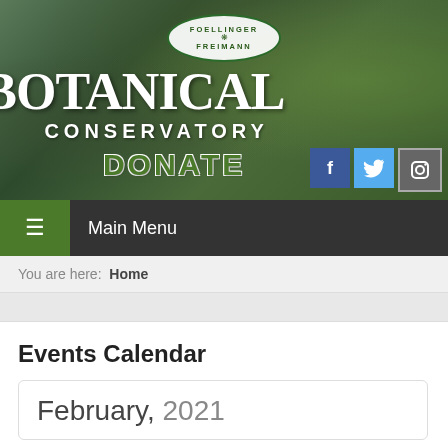[Figure (photo): Foellinger Freimann Botanical Conservatory banner with tropical foliage background, green logo oval, large white BOTANICAL text, CONSERVATORY text, DONATE button, and social media icons for Facebook, Twitter, Instagram]
Main Menu
You are here: Home
Events Calendar
February, 2021